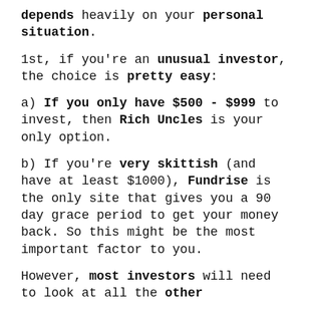depends heavily on your personal situation.
1st, if you're an unusual investor, the choice is pretty easy:
a) If you only have $500 - $999 to invest, then Rich Uncles is your only option.
b) If you're very skittish (and have at least $1000), Fundrise is the only site that gives you a 90 day grace period to get your money back. So this might be the most important factor to you.
However, most investors will need to look at all the other